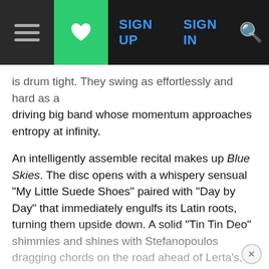Navigation bar with hamburger menu, heart/favorites button (green), SIGN UP, SIGN IN links, and search icon
is drum tight. They swing as effortlessly and hard as a driving big band whose momentum approaches entropy at infinity.
An intelligently assemble recital makes up Blue Skies. The disc opens with a whispery sensual "My Little Suede Shoes" paired with "Day by Day" that immediately engulfs its Latin roots, turning them upside down. A solid "Tin Tin Deo" shimmies and shines with Stefanopoulos dragging chords on the road ahead of Lerta's, teasing, coquettish delivery. The duo take the basic, "Hum Dum Blues," swinging and virtuosic from its simplicity to the pop- tranquil ballad of "The Moon is a Harsh Mistress," the most perfect performance on a recording of the same. The two transcend the title piece by downshifting into low gear, maximizing the